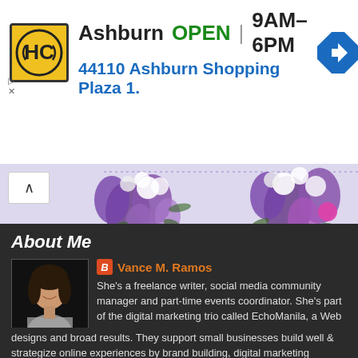[Figure (screenshot): Advertisement banner for HC Ashburn location showing logo, OPEN status, hours 9AM-6PM, address 44110 Ashburn Shopping Plaza 1., and navigation icon]
[Figure (screenshot): Blog navigation area with floral background (purple and white flowers), up arrow button, left/right chevrons, Home link, and View web version link]
About Me
[Figure (photo): Profile photo of Vance M. Ramos, a woman smiling, dark background]
Vance M. Ramos
She's a freelance writer, social media community manager and part-time events coordinator. She's part of the digital marketing trio called EchoManila, a Web Dev & Branding Provider that delivers top-tier designs and broad results. They support small businesses build well & strategize online experiences by brand building, digital marketing strategies, and creating and re-designing user-friendly websites that meet business goals. At present, Vance is working full-time in a hotel